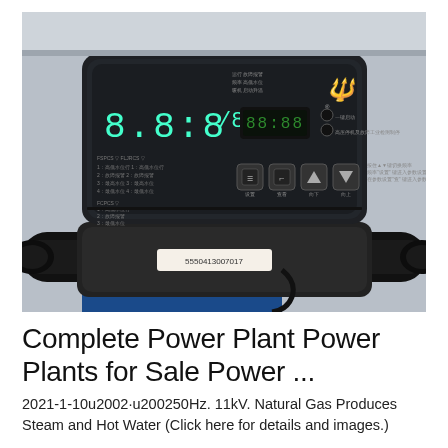[Figure (photo): Close-up photo of an industrial water treatment or power plant control panel device. The device is dark/black colored with a digital display showing time or numeric segments, Chinese text labels, four control buttons (square icons including settings, tab, down arrow, up arrow), LED indicator lights, and a manufacturer logo in the top right. Below the control panel are large black pipes/valves with a serial number label visible.]
Complete Power Plant Power Plants for Sale Power ...
2021-1-10u2002·u200250Hz. 11kV. Natural Gas Produces Steam and Hot Water (Click here for details and images.)